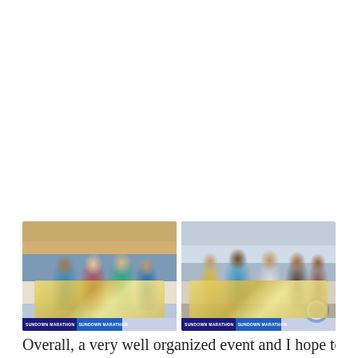[Figure (photo): Two side-by-side photos from a running event award ceremony. Left photo shows three people (two women and one man in teal shirt) holding large prize check boards on a stage. Right photo shows five people (men and women) holding prize check boards on the same stage. Both photos have event logos at the bottom.]
Overall, a very well organized event and I hope to